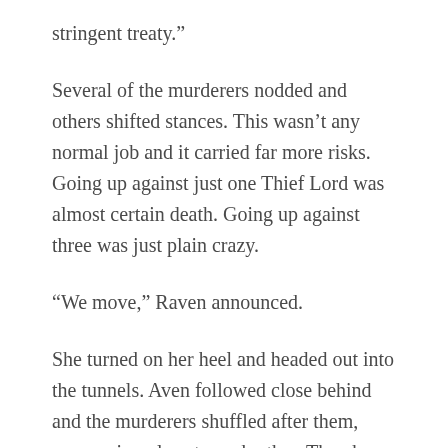stringent treaty.”
Several of the murderers nodded and others shifted stances. This wasn’t any normal job and it carried far more risks. Going up against just one Thief Lord was almost certain death. Going up against three was just plain crazy.
“We move,” Raven announced.
She turned on her heel and headed out into the tunnels. Aven followed close behind and the murderers shuffled after them, murmuring plans to each other. They knew the other ten that had been sent ahead and knew whom worked best with whom.